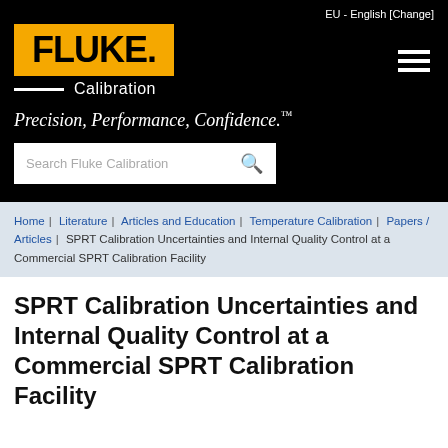EU - English [Change]
[Figure (logo): Fluke Calibration logo with yellow background and hamburger menu icon]
Precision, Performance, Confidence.™
Search Fluke Calibration
Home | Literature | Articles and Education | Temperature Calibration | Papers / Articles | SPRT Calibration Uncertainties and Internal Quality Control at a Commercial SPRT Calibration Facility
SPRT Calibration Uncertainties and Internal Quality Control at a Commercial SPRT Calibration Facility